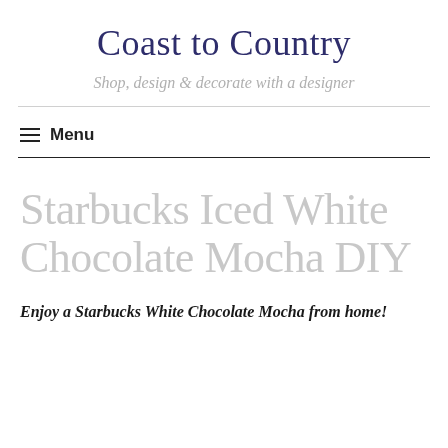Coast to Country
Shop, design & decorate with a designer
Menu
Starbucks Iced White Chocolate Mocha DIY
Enjoy a Starbucks White Chocolate Mocha from home!